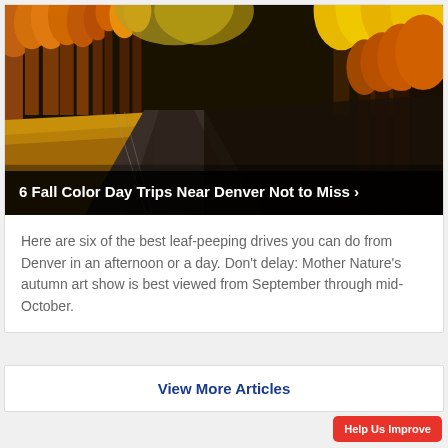[Figure (photo): Autumn fall color landscape with golden aspen and orange trees lining both sides of a rural road cutting through golden fields, with dark shadows and bright foliage]
6 Fall Color Day Trips Near Denver Not to Miss ›
Here are six of the best leaf-peeping drives you can do from Denver in an afternoon or a day. Don't delay: Mother Nature's autumn art show is best viewed from September through mid-October.
View More Articles
Help Us Improve